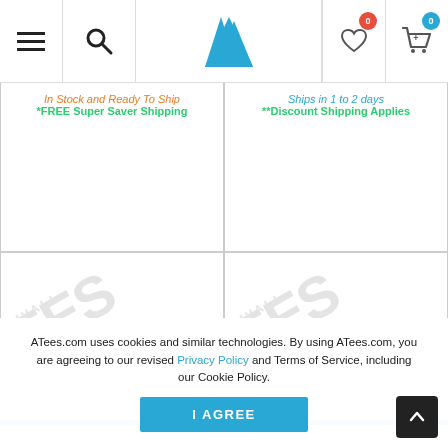ATees.com navigation header with menu, search, logo, wishlist (0), and cart (0)
In Stock and Ready To Ship
*FREE Super Saver Shipping
Ships in 1 to 2 days
**Discount Shipping Applies
[Figure (photo): Product placeholder with TEES Hobbies NEW ARRIVAL AVAILABLE watermark]
[Figure (photo): Product placeholder with TEES Hobbies NEW ARRIVAL AVAILABLE watermark]
ATees.com uses cookies and similar technologies. By using ATees.com, you are agreeing to our revised Privacy Policy and Terms of Service, including our Cookie Policy.
I AGREE